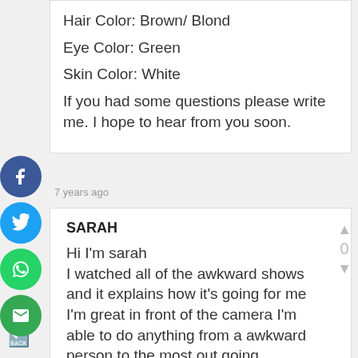Hair Color: Brown/ Blond
Eye Color: Green
Skin Color: White
If you had some questions please write me. I hope to hear from you soon.
7 years ago
SARAH
Hi I'm sarah
I watched all of the awkward shows and it explains how it's going for me I'm great in front of the camera I'm able to do anything from a awkward person to the most out going